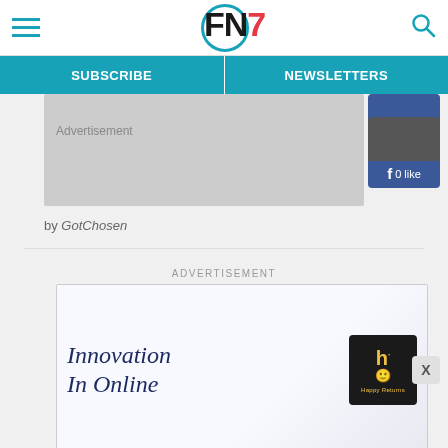FN7 — SUBSCRIBE | NEWSLETTERS
[Figure (screenshot): Advertisement placeholder box (grey rectangle)]
[Figure (screenshot): Facebook 0 likes box]
by GotChosen
ADVERTISEMENT
[Figure (screenshot): Advertisement banner: Innovation In Online with Happy Returns logo box. Close X button top right.]